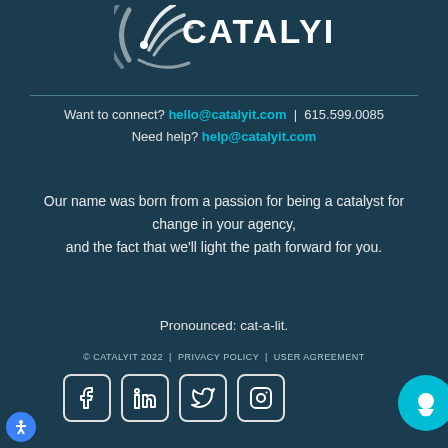[Figure (logo): CatalytIT logo with white text and arc/signal graphic on dark teal background]
Want to connect? hello@catalyit.com | 615.599.0085
Need help? help@catalyit.com
Our name was born from a passion for being a catalyst for change in your agency, and the fact that we'll light the path forward for you.
Pronounced: cat-a-lit.
© CATALYIT 2022 | PRIVACY POLICY | USER AGREEMENT
[Figure (illustration): Social media icons: Facebook, LinkedIn, Twitter, Instagram in rounded square outlines]
[Figure (illustration): Teal chat bubble button and accessibility icon]